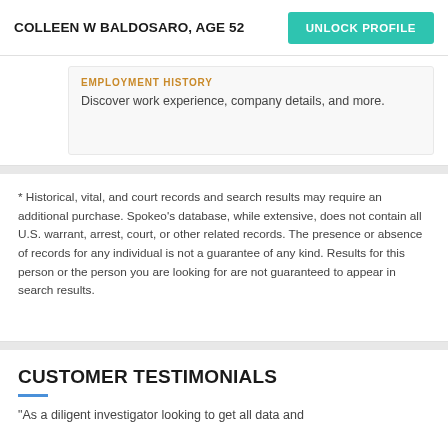COLLEEN W BALDOSARO, AGE 52 | UNLOCK PROFILE
EMPLOYMENT HISTORY
Discover work experience, company details, and more.
* Historical, vital, and court records and search results may require an additional purchase. Spokeo's database, while extensive, does not contain all U.S. warrant, arrest, court, or other related records. The presence or absence of records for any individual is not a guarantee of any kind. Results for this person or the person you are looking for are not guaranteed to appear in search results.
CUSTOMER TESTIMONIALS
“As a diligent investigator looking to get all data and